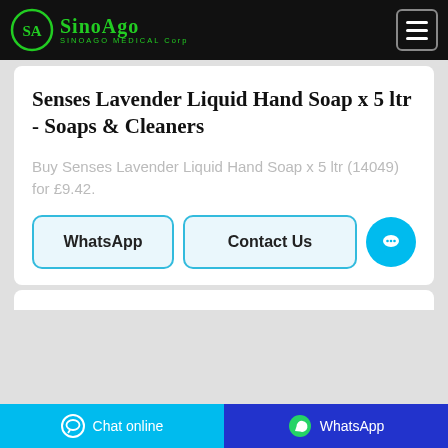SINOAGO MEDICAL Corp
Senses Lavender Liquid Hand Soap x 5 ltr - Soaps & Cleaners
Buy Senses Lavender Liquid Hand Soap x 5 ltr (14049) for £9.42.
WhatsApp  Contact Us
Chat online  WhatsApp